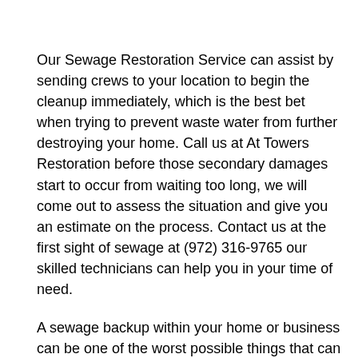Our Sewage Restoration Service can assist by sending crews to your location to begin the cleanup immediately, which is the best bet when trying to prevent waste water from further destroying your home. Call us at At Towers Restoration before those secondary damages start to occur from waiting too long, we will come out to assess the situation and give you an estimate on the process. Contact us at the first sight of sewage at (972) 316-9765 our skilled technicians can help you in your time of need.
A sewage backup within your home or business can be one of the worst possible things that can occur. Not only can sewage cause costly physical damages to the property itself, but it can also often result in serious health issues for everyone involved if it is not properly disposed of and cleaned up by a Sewage Restoration Company. Furthermore, it is often very difficult to properly assess and mitigate sewage-related problems. The Sewage Restoration Company's at Towers Restoration and Cleaning in DeSoto, TX, 75115 are skilled in helping customers